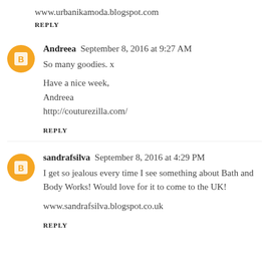www.urbanikamoda.blogspot.com
REPLY
Andreea  September 8, 2016 at 9:27 AM
So many goodies. x

Have a nice week,
Andreea
http://couturezilla.com/
REPLY
sandrafsilva  September 8, 2016 at 4:29 PM
I get so jealous every time I see something about Bath and Body Works! Would love for it to come to the UK!

www.sandrafsilva.blogspot.co.uk
REPLY